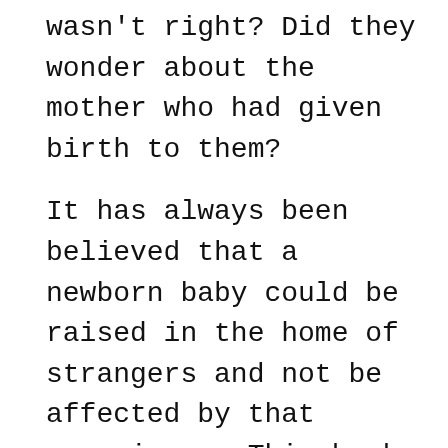wasn't right? Did they wonder about the mother who had given birth to them?
It has always been believed that a newborn baby could be raised in the home of strangers and not be affected by that experience. This book offers a starting place in pursuing some of these answers.
Sandy Musser, author of I